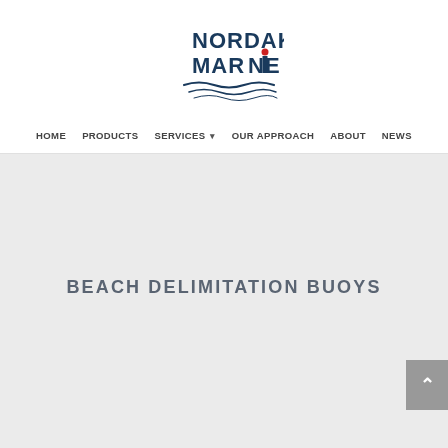[Figure (logo): Nordak Marine logo with dark blue bold text NORDAK MARINE, red dot on the i in MARINE, and blue wave lines beneath]
HOME   PRODUCTS   SERVICES ▾   OUR APPROACH   ABOUT   NEWS
BEACH DELIMITATION BUOYS